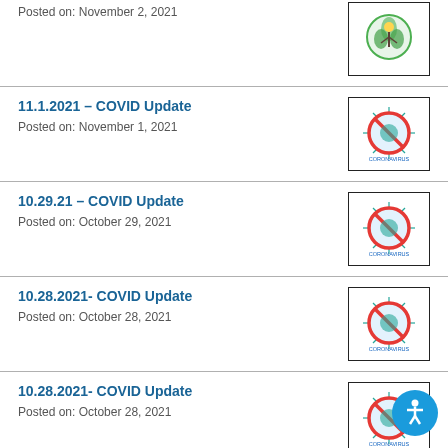Posted on: November 2, 2021
11.1.2021 – COVID Update
Posted on: November 1, 2021
10.29.21 – COVID Update
Posted on: October 29, 2021
10.28.2021- COVID Update
Posted on: October 28, 2021
10.28.2021- COVID Update
Posted on: October 28, 2021
10.27.2021- COVID Update
Posted on: October 27, 2021
[Figure (logo): Green circular logo with figure and leaves]
[Figure (logo): COVID-19 no symbol – red circle with slash over blue coronavirus, text CORONAVIRUS below]
[Figure (logo): COVID-19 no symbol – red circle with slash over blue coronavirus, text CORONAVIRUS below]
[Figure (logo): COVID-19 no symbol – red circle with slash over blue coronavirus, text CORONAVIRUS below]
[Figure (logo): COVID-19 no symbol – red circle with slash over blue coronavirus, text CORONAVIRUS below]
[Figure (logo): COVID-19 no symbol – red circle with slash over blue coronavirus, text CORONAVIRUS below]